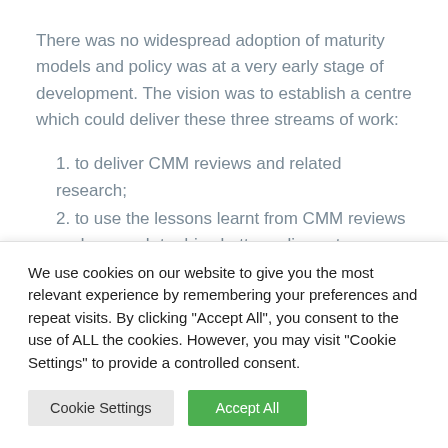There was no widespread adoption of maturity models and policy was at a very early stage of development. The vision was to establish a centre which could deliver these three streams of work:
1. to deliver CMM reviews and related research;
2. to use the lessons learnt from CMM reviews and research to drive better policy outcomes; and
3. to work with industry on their specific challenges
We use cookies on our website to give you the most relevant experience by remembering your preferences and repeat visits. By clicking "Accept All", you consent to the use of ALL the cookies. However, you may visit "Cookie Settings" to provide a controlled consent.